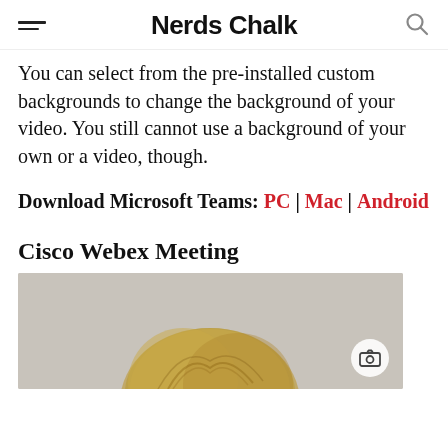Nerds Chalk
You can select from the pre-installed custom backgrounds to change the background of your video. You still cannot use a background of your own or a video, though.
Download Microsoft Teams: PC | Mac | Android
Cisco Webex Meeting
[Figure (photo): Photo showing top of a person's head with blonde/brown hair, on a light grey background, with a camera screenshot icon button in the lower right.]